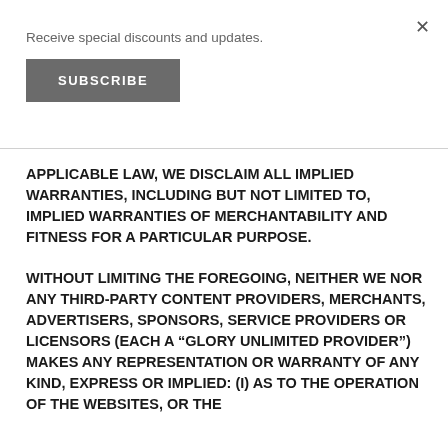Receive special discounts and updates.
SUBSCRIBE
APPLICABLE LAW, WE DISCLAIM ALL IMPLIED WARRANTIES, INCLUDING BUT NOT LIMITED TO, IMPLIED WARRANTIES OF MERCHANTABILITY AND FITNESS FOR A PARTICULAR PURPOSE.
WITHOUT LIMITING THE FOREGOING, NEITHER WE NOR ANY THIRD-PARTY CONTENT PROVIDERS, MERCHANTS, ADVERTISERS, SPONSORS, SERVICE PROVIDERS OR LICENSORS (EACH A “GLORY UNLIMITED PROVIDER”) MAKES ANY REPRESENTATION OR WARRANTY OF ANY KIND, EXPRESS OR IMPLIED: (I) AS TO THE OPERATION OF THE WEBSITES, OR THE